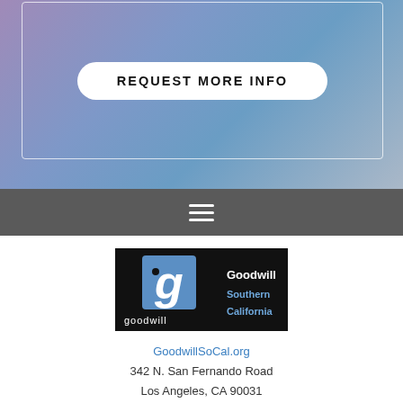[Figure (screenshot): Hero section with blurred blue/purple background and white bordered box containing REQUEST MORE INFO button]
REQUEST MORE INFO
[Figure (logo): Goodwill Southern California logo - black background with blue Goodwill 'g' icon on left and 'Goodwill Southern California' text in white and blue on right]
GoodwillSoCal.org
342 N. San Fernando Road
Los Angeles, CA 90031
(323) 223-1211